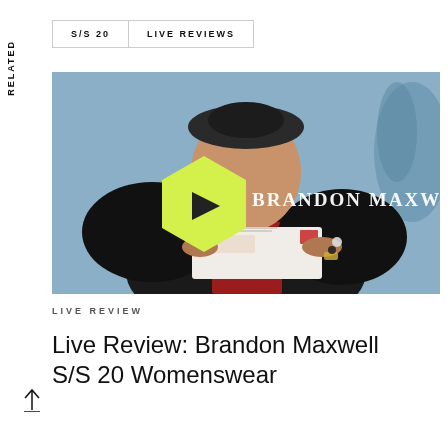RELATED
S/S 20  |  LIVE REVIEWS
[Figure (photo): Woman in black hat and black puffed-sleeve jacket over red dress, holding an envelope. Overlay shows hexagon play button and BRANDON MAXWELL text logo.]
LIVE REVIEW
Live Review: Brandon Maxwell S/S 20 Womenswear